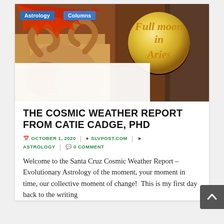[Figure (photo): Hero image for article: Full moon in Aries, showing stone ram sculptures with red flame decorations and a large golden moon. Blue category tags 'Astrology' and 'Columns' overlaid at top left. Text 'Full moon in Aries' in gold italic serif font over the moon.]
THE COSMIC WEATHER REPORT FROM CATIE CADGE, PHD
📅 OCTOBER 1, 2020  👤 SLVPOST.COM  🏷 ASTROLOGY  💬 0 COMMENT
Welcome to the Santa Cruz Cosmic Weather Report – Evolutionary Astrology of the moment, your moment in time, our collective moment of change!  This is my first day back to the writing